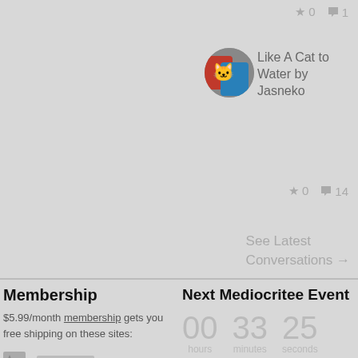★ 0  💬 1
[Figure (photo): Circular avatar image of colorful cat-themed t-shirts in red and blue]
Like A Cat to Water by Jasneko
★ 0  💬 14
See Latest Conversations →
Membership
$5.99/month membership gets you free shipping on these sites:
Next Mediocritee Event
00 hours  33 minutes  25 seconds
Social Media
[Figure (infographic): Three circular social media icons: Facebook, Instagram, Twitter in dark grey]